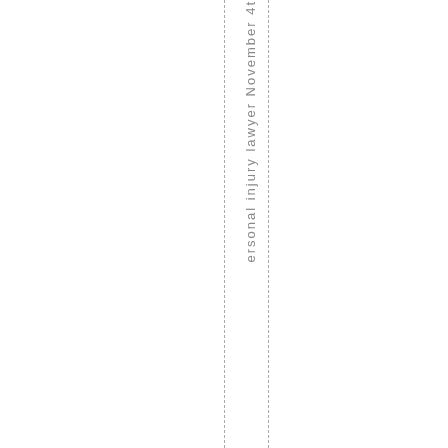personal injury lawyer November 4t